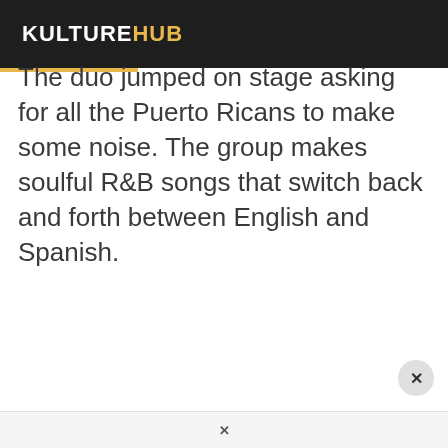KULTUREHUB
The duo jumped on stage asking for all the Puerto Ricans to make some noise. The group makes soulful R&B songs that switch back and forth between English and Spanish.